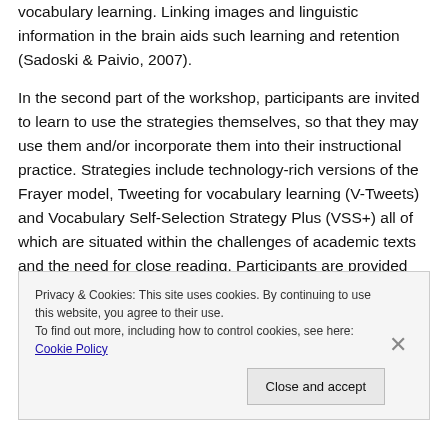vocabulary learning. Linking images and linguistic information in the brain aids such learning and retention (Sadoski & Paivio, 2007).
In the second part of the workshop, participants are invited to learn to use the strategies themselves, so that they may use them and/or incorporate them into their instructional practice. Strategies include technology-rich versions of the Frayer model, Tweeting for vocabulary learning (V-Tweets) and Vocabulary Self-Selection Strategy Plus (VSS+) all of which are situated within the challenges of academic texts and the need for close reading. Participants are provided
Privacy & Cookies: This site uses cookies. By continuing to use this website, you agree to their use.
To find out more, including how to control cookies, see here: Cookie Policy
Close and accept